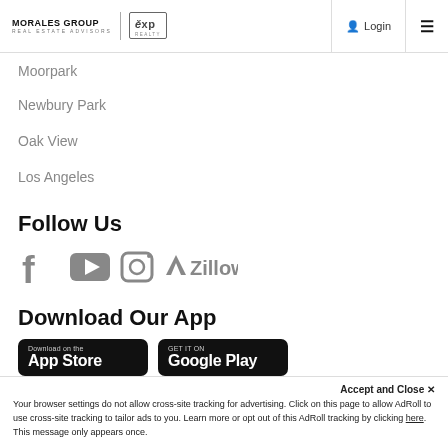MORALES GROUP REAL ESTATE ADVISORS | exp realty  — Login  ☰
Moorpark
Newbury Park
Oak View
Los Angeles
Follow Us
[Figure (infographic): Social media icons row: Facebook, YouTube, Instagram, Zillow]
Download Our App
[Figure (infographic): App Store and Google Play download buttons]
Accept and Close ✕
Your browser settings do not allow cross-site tracking for advertising. Click on this page to allow AdRoll to use cross-site tracking to tailor ads to you. Learn more or opt out of this AdRoll tracking by clicking here. This message only appears once.